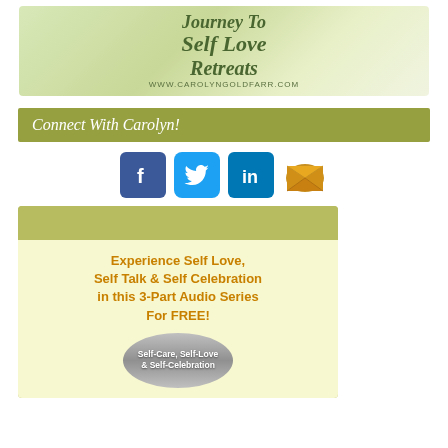[Figure (illustration): Banner image for Journey to Self Love Retreats by Carolyn Goldfarr with photo of woman and stacked stones. URL: www.carolyngoldfarr.com]
Connect With Carolyn!
[Figure (other): Social media icons: Facebook, Twitter, LinkedIn, Email]
[Figure (other): Promotional card for 3-Part Audio Series on Experience Self Love, Self Talk & Self Celebration For FREE! with CD image labeled Self-Care, Self-Love & Self-Celebration]